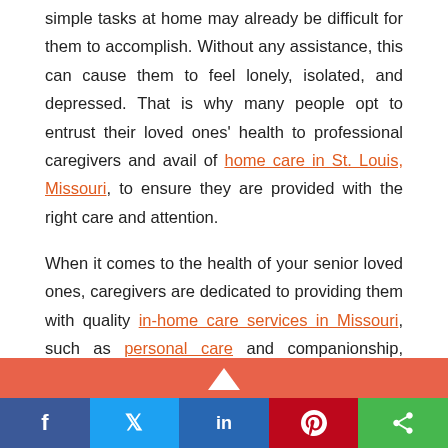simple tasks at home may already be difficult for them to accomplish. Without any assistance, this can cause them to feel lonely, isolated, and depressed. That is why many people opt to entrust their loved ones' health to professional caregivers and avail of home care in St. Louis, Missouri, to ensure they are provided with the right care and attention.

When it comes to the health of your senior loved ones, caregivers are dedicated to providing them with quality in-home care services in Missouri, such as personal care and companionship, which